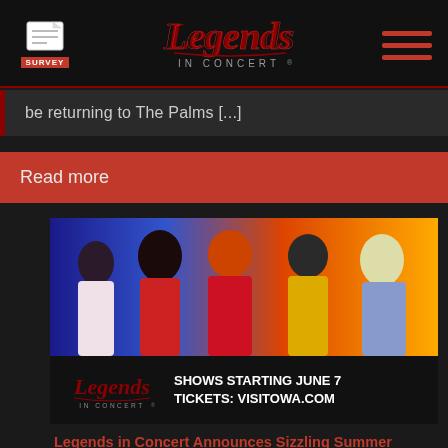[Figure (logo): Legends In Concert logo — stylized script text in red/dark red with 'IN CONCERT' below in smaller text]
[Figure (logo): Survey icon — clipboard/document icon with red SURVEY label]
[Figure (illustration): Hamburger menu icon — three horizontal red bars]
be returning to The Palms [...]
Read more
[Figure (photo): Five performers in concert costumes against colorful stage lighting background: woman in white/red polka dot, person in red jacket, woman in red dress with orange hair, man in gold jacket with cap, blonde woman in silver]
[Figure (logo): Legends In Concert logo with SHOWS STARTING JUNE 7 and TICKETS: VISITOWA.COM text]
Legends in Concert Announces Sizzling Summer Lineup at OWA Theater